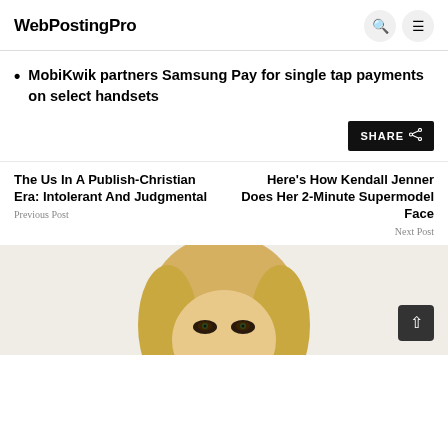WebPostingPro
MobiKwik partners Samsung Pay for single tap payments on select handsets
SHARE
The Us In A Publish-Christian Era: Intolerant And Judgmental
Previous Post
Here’s How Kendall Jenner Does Her 2-Minute Supermodel Face
Next Post
[Figure (photo): Partial photo of a blonde woman's face with dark eye makeup visible at the bottom of the page]